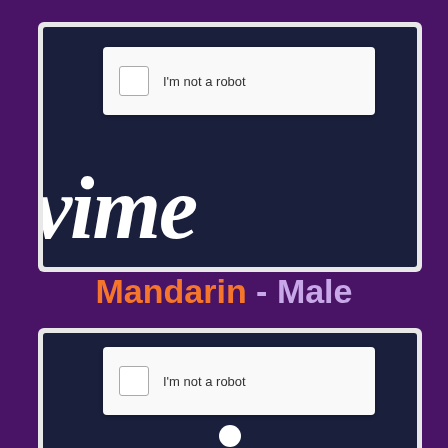[Figure (screenshot): Screenshot of Vimeo website showing a reCAPTCHA 'I'm not a robot' checkbox widget overlaid on a dark navy background with the Vimeo logo in large white italic text partially visible]
Mandarin - Male
[Figure (screenshot): Second screenshot of Vimeo website showing a reCAPTCHA 'I'm not a robot' checkbox widget on dark navy background, partially cropped]